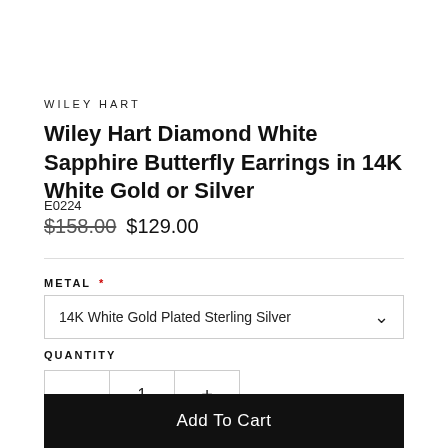WILEY HART
Wiley Hart Diamond White Sapphire Butterfly Earrings in 14K White Gold or Silver
E0224
$158.00  $129.00
METAL *
14K White Gold Plated Sterling Silver
QUANTITY
1
Add To Cart